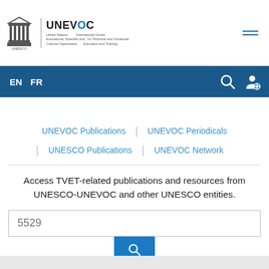[Figure (logo): UNESCO-UNEVOC logo with UNESCO pillar icon on the left, vertical divider, UNEVOC text in bold with blue 'O', and subtitle text: United Nations Educational, Scientific and Cultural Organization | International Centre for Technical and Vocational Education and Training]
EN  FR
UNEVOC Publications | UNEVOC Periodicals | UNESCO Publications | UNEVOC Network
Access TVET-related publications and resources from UNESCO-UNEVOC and other UNESCO entities.
5529